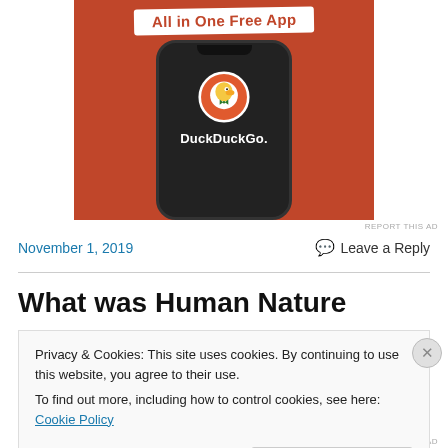[Figure (illustration): DuckDuckGo advertisement showing a smartphone with DuckDuckGo app on an orange background with 'All in One Free App' banner at top]
REPORT THIS AD
November 1, 2019
💬 Leave a Reply
What was Human Nature
Privacy & Cookies: This site uses cookies. By continuing to use this website, you agree to their use.
To find out more, including how to control cookies, see here: Cookie Policy
Close and accept